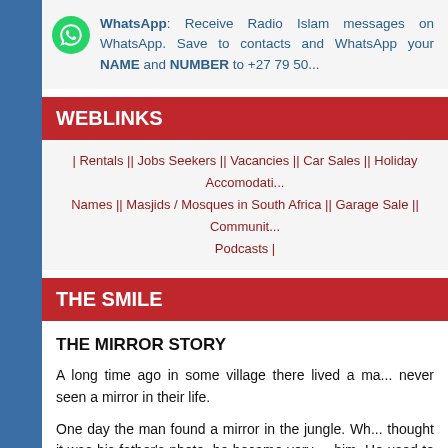WhatsApp: Receive Radio Islam messages on WhatsApp. Save to contacts and WhatsApp your NAME and NUMBER to +27 79 50...
WEBLINKS
| Rentals || Jobs Seekers || Vacancies || Car Sales || Holiday Accomodati... Names || Masjids / Mosques in South Africa || Garage Sale || Communit... Podcasts |
THE SMILE
THE MIRROR STORY
A long time ago in some village there lived a ma... never seen a mirror in their life.
One day the man found a mirror in the jungle. Wh... thought it was his father's photo, he became very ... him. He used to speak to the mirror every day.